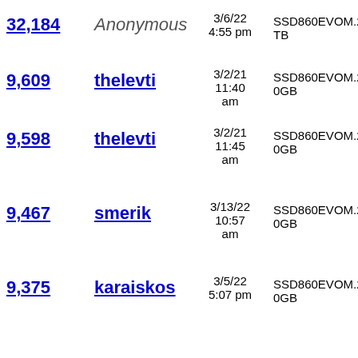| Views | User | Date | Title |
| --- | --- | --- | --- |
| 32,184 | Anonymous | 3/6/22 4:55 pm | SSD860EVOM.21TB |
| 9,609 | thelevti | 3/2/21 11:40 am | SSD860EVOM.2250GB |
| 9,598 | thelevti | 3/2/21 11:45 am | SSD860EVOM.2250GB |
| 9,467 | smerik | 3/13/22 10:57 am | SSD860EVOM.2250GB |
| 9,375 | karaiskos | 3/5/22 5:07 pm | SSD860EVOM.2250GB |